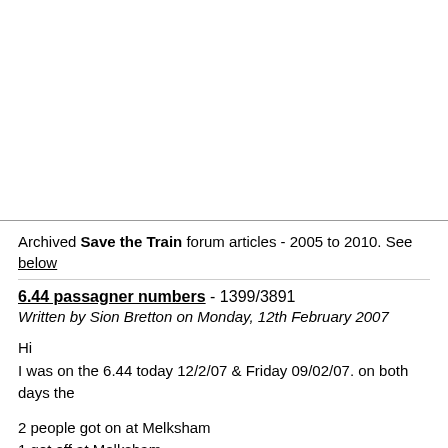Archived Save the Train forum articles - 2005 to 2010. See below
6.44 passagner numbers - 1399/3891
Written by Sion Bretton on Monday, 12th February 2007
Hi
I was on the 6.44 today 12/2/07 & Friday 09/02/07. on both days the
2 people got on at Melksham
1 got off at Melksham
There were 4 people on the train when it left Melksham, the other 2 g
Chippenham. (one of these works for FGW and he got off at Trowbri